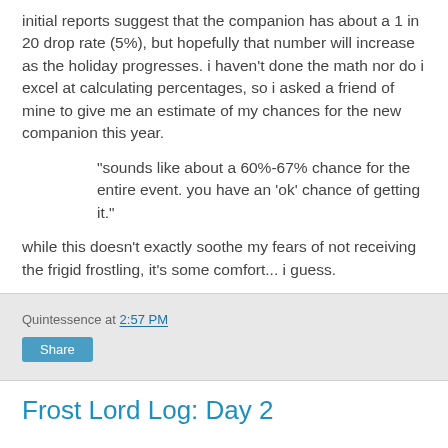initial reports suggest that the companion has about a 1 in 20 drop rate (5%), but hopefully that number will increase as the holiday progresses. i haven't done the math nor do i excel at calculating percentages, so i asked a friend of mine to give me an estimate of my chances for the new companion this year.
"sounds like about a 60%-67% chance for the entire event. you have an 'ok' chance of getting it."
while this doesn't exactly soothe my fears of not receiving the frigid frostling, it's some comfort... i guess.
Quintessence at 2:57 PM
Share
Frost Lord Log: Day 2